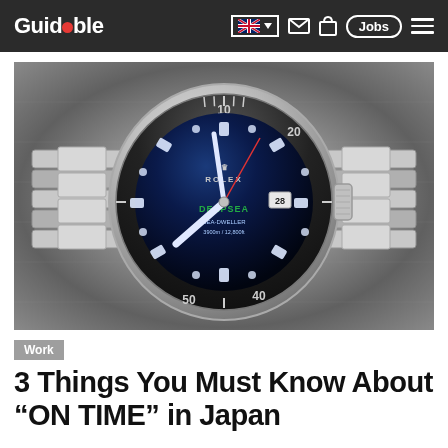Guidable — navigation bar with logo, language selector, mail icon, bag icon, Jobs button, hamburger menu
[Figure (photo): Close-up photograph of a Rolex Deepsea Sea-Dweller watch with blue gradient dial and stainless steel bracelet on a grey fabric background]
Work
3 Things You Must Know About "ON TIME" in Japan